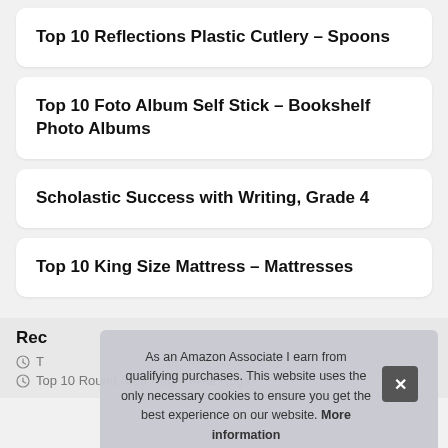Top 10 Reflections Plastic Cutlery – Spoons
Top 10 Foto Album Self Stick – Bookshelf Photo Albums
Scholastic Success with Writing, Grade 4
Top 10 King Size Mattress – Mattresses
Rec
Top 10 Round Area Rug – Area Rugs
As an Amazon Associate I earn from qualifying purchases. This website uses the only necessary cookies to ensure you get the best experience on our website. More information